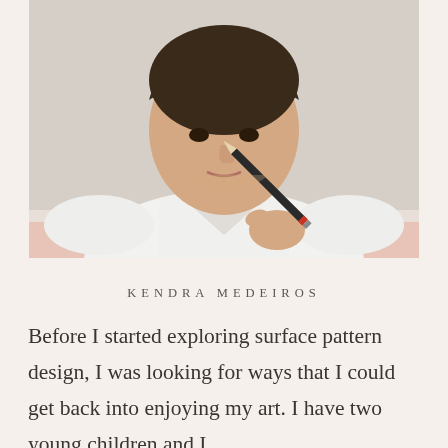[Figure (photo): A young person in a white v-neck t-shirt holding a black pencil, photographed from above against a light wall background]
KENDRA MEDEIROS
Before I started exploring surface pattern design, I was looking for ways that I could get back into enjoying my art. I have two young children and I